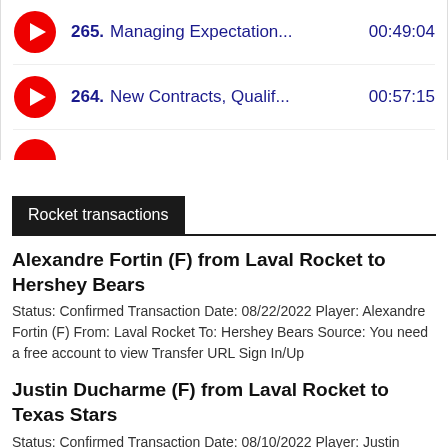265. Managing Expectation... 00:49:04
264. New Contracts, Qualif... 00:57:15
Rocket transactions
Alexandre Fortin (F) from Laval Rocket to Hershey Bears
Status: Confirmed Transaction Date: 08/22/2022 Player: Alexandre Fortin (F) From: Laval Rocket To: Hershey Bears Source: You need a free account to view Transfer URL Sign In/Up
Justin Ducharme (F) from Laval Rocket to Texas Stars
Status: Confirmed Transaction Date: 08/10/2022 Player: Justin